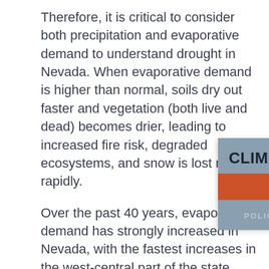Therefore, it is critical to consider both precipitation and evaporative demand to understand drought in Nevada. When evaporative demand is higher than normal, soils dry out faster and vegetation (both live and dead) becomes drier, leading to increased fire risk, degraded ecosystems, and snow is lost more rapidly.
Over the past 40 years, evaporative demand has strongly increased in Nevada, with the fastest increases in the west-central part of the state (Figure 9). Climate projections indicate this trend will continue through the end of the century (Figure 10). Despite projected increases in precipitation (Figure 8), droughts still [occur/worsen] due to increased [evaporative demand] as a result of [...]
[Figure (screenshot): A UI overlay showing a 'CLIMATE STRATEGY' panel with a gray background, an orange 'Print this Page' button, a dark scroll-to-top arrow button, and a 'POLICY SECTION MENU' dropdown at the bottom.]